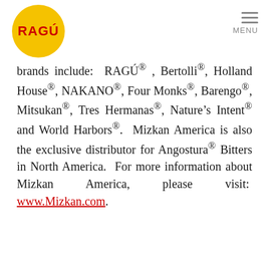RAGÚ logo and MENU navigation
brands include: RAGÚ®, Bertolli®, Holland House®, NAKANO®, Four Monks®, Barengo®, Mitsukan®, Tres Hermanas®, Nature's Intent® and World Harbors®. Mizkan America is also the exclusive distributor for Angostura® Bitters in North America. For more information about Mizkan America, please visit: www.Mizkan.com.
About The Mizkan Group
We use cookies to personalize and enhance your experience on our site. Visit our Privacy Policy to learn more or manage your personal preferences in our Cookie Consent Tool. By using our site, you agree to our use of cookies.
ACCEPT
DECLINE